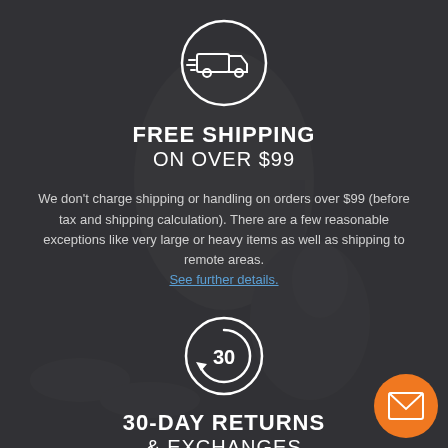[Figure (illustration): White truck delivery icon inside a white circle on dark background]
FREE SHIPPING
ON OVER $99
We don't charge shipping or handling on orders over $99 (before tax and shipping calculation). There are a few reasonable exceptions like very large or heavy items as well as shipping to remote areas.
See further details.
[Figure (illustration): 30-day return icon: a clock/circular arrow with '30' inside, white circle outline on dark background]
30-DAY RETURNS & EXCHANGES
[Figure (illustration): Orange circle button with white envelope/mail icon]